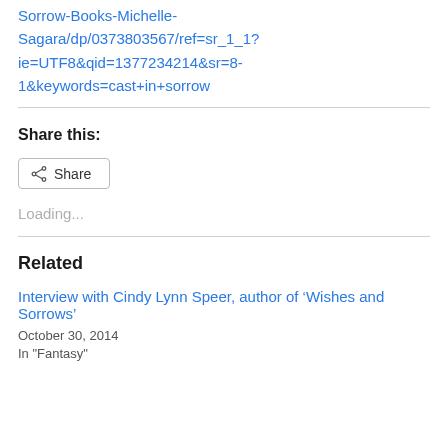Sorrow-Books-Michelle-Sagara/dp/0373803567/ref=sr_1_1?ie=UTF8&qid=1377234214&sr=8-1&keywords=cast+in+sorrow
Share this:
[Figure (other): Share button with share icon]
Loading...
Related
Interview with Cindy Lynn Speer, author of ‘Wishes and Sorrows’
October 30, 2014
In "Fantasy"